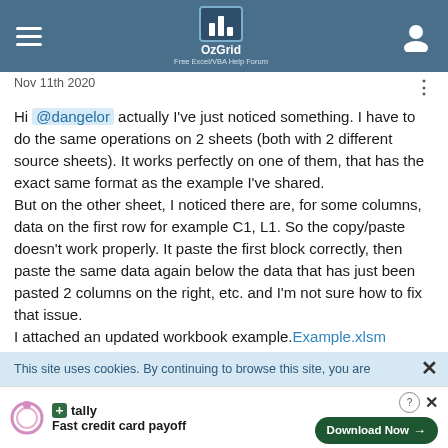OzGrid — Free Excel/VBA Help Forum
Nov 11th 2020
Hi @dangelor actually I've just noticed something. I have to do the same operations on 2 sheets (both with 2 different source sheets). It works perfectly on one of them, that has the exact same format as the example I've shared. But on the other sheet, I noticed there are, for some columns, data on the first row for example C1, L1. So the copy/paste doesn't work properly. It paste the first block correctly, then paste the same data again below the data that has just been pasted 2 columns on the right, etc. and I'm not sure how to fix that issue. I attached an updated workbook example.Example.xlsm
This site uses cookies. By continuing to browse this site, you are
tally — Fast credit card payoff — Download Now